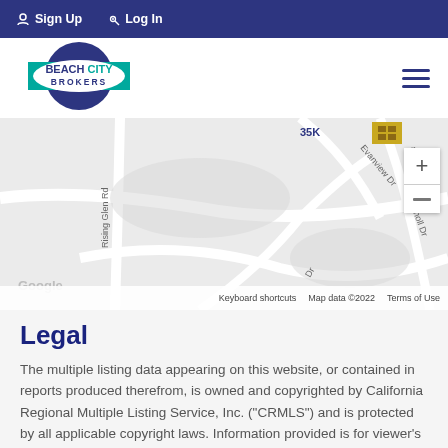Sign Up  Log In
[Figure (logo): Beach City Brokers logo: dark blue circle with teal rectangle, white oval with BEACH CITY BROKERS text]
[Figure (map): Google Maps screenshot showing street map with roads: Rising Glen Rd, Evanview Dr, Est Knoll Dr. Map data ©2022. Keyboard shortcuts. Terms of Use.]
Legal
The multiple listing data appearing on this website, or contained in reports produced therefrom, is owned and copyrighted by California Regional Multiple Listing Service, Inc. ("CRMLS") and is protected by all applicable copyright laws. Information provided is for viewer's